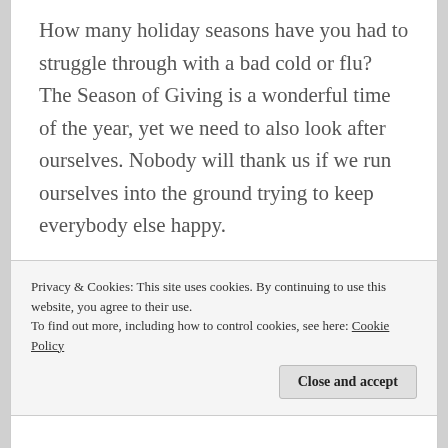How many holiday seasons have you had to struggle through with a bad cold or flu? The Season of Giving is a wonderful time of the year, yet we need to also look after ourselves. Nobody will thank us if we run ourselves into the ground trying to keep everybody else happy.
Privacy & Cookies: This site uses cookies. By continuing to use this website, you agree to their use.
To find out more, including how to control cookies, see here: Cookie Policy
Close and accept